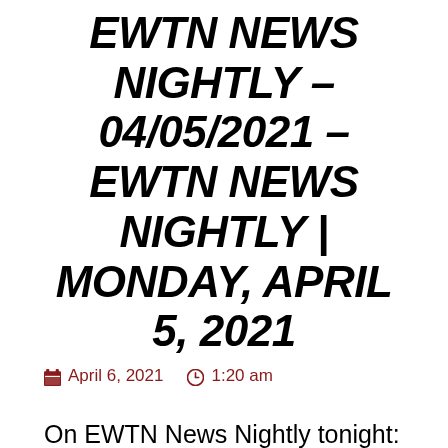EWTN NEWS NIGHTLY – 04/05/2021 – EWTN NEWS NIGHTLY | MONDAY, APRIL 5, 2021
April 6, 2021   1:20 am
On EWTN News Nightly tonight: Pope Francis led Easter celebrations throughout the weekend, in Rome with a message of light and consolation for all, and...